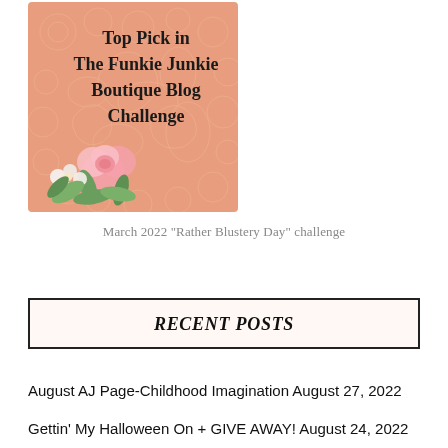[Figure (illustration): Badge/award image: peach/salmon colored background with white lace pattern overlay, pink roses and greenery in lower left corner. Text reads 'Top Pick in The Funkie Junkie Boutique Blog Challenge' in dark serif font.]
March 2022 "Rather Blustery Day" challenge
RECENT POSTS
August AJ Page-Childhood Imagination August 27, 2022
Gettin' My Halloween On + GIVE AWAY! August 24, 2022